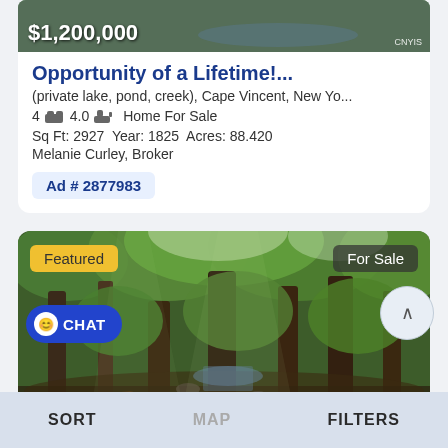$1,200,000
Opportunity of a Lifetime!...
(private lake, pond, creek), Cape Vincent, New Yo...
4 🛏 4.0 🛁 Home For Sale
Sq Ft: 2927  Year: 1825  Acres: 88.420
Melanie Curley, Broker
Ad # 2877983
[Figure (photo): Forest scene with tall trees and a creek, with Featured and For Sale badges]
SORT  MAP  FILTERS